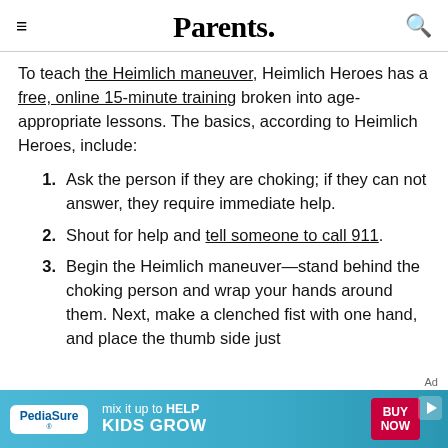Parents.
To teach the Heimlich maneuver, Heimlich Heroes has a free, online 15-minute training broken into age-appropriate lessons. The basics, according to Heimlich Heroes, include:
Ask the person if they are choking; if they can not answer, they require immediate help.
Shout for help and tell someone to call 911.
Begin the Heimlich maneuver—stand behind the choking person and wrap your hands around them. Next, make a clenched fist with one hand, and place the thumb side just
[Figure (other): PediaSure advertisement banner: 'mix it up to HELP KIDS GROW' with BUY NOW button]